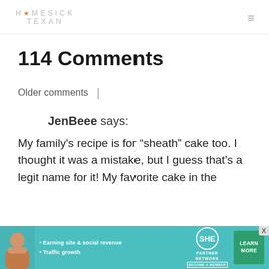HOMESICK TEXAN
114 Comments
Older comments  |
JenBeee says:
My family's recipe is for “sheath” cake too. I thought it was a mistake, but I guess that’s a legit name for it! My favorite cake in the
[Figure (screenshot): Advertisement banner for SHE Partner Network featuring a person, bullet points about earning site & social revenue and traffic growth, the SHE logo, and a green Learn More button.]